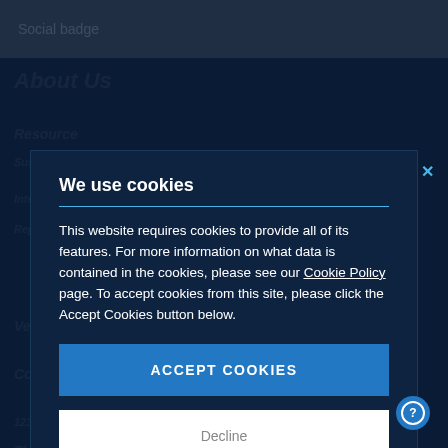Social badge
We use cookies
This website requires cookies to provide all of its features. For more information on what data is contained in the cookies, please see our Cookie Policy page. To accept cookies from this site, please click the Accept Cookies button below.
ACCEPT COOKIES
Decline
Customize Settings